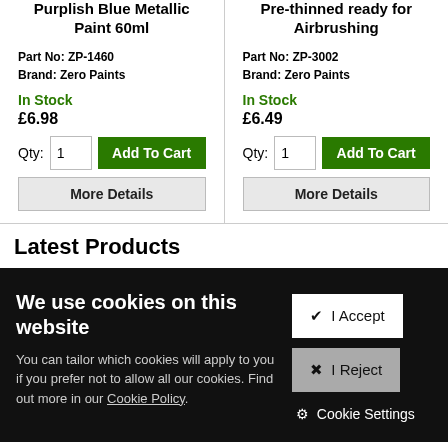Purplish Blue Metallic Paint 60ml
Part No: ZP-1460
Brand: Zero Paints
In Stock
£6.98
Pre-thinned ready for Airbrushing
Part No: ZP-3002
Brand: Zero Paints
In Stock
£6.49
Latest Products
We use cookies on this website
You can tailor which cookies will apply to you if you prefer not to allow all our cookies. Find out more in our Cookie Policy.